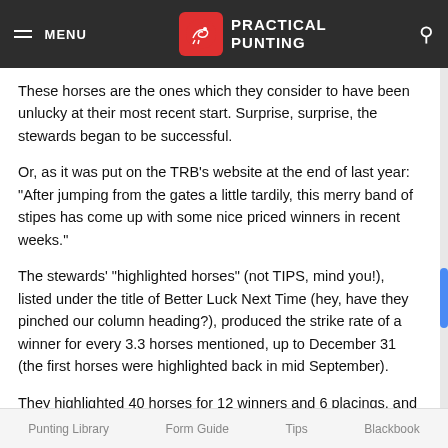MENU | PRACTICAL PUNTING
These horses are the ones which they consider to have been unlucky at their most recent start. Surprise, surprise, the stewards began to be successful.
Or, as it was put on the TRB's website at the end of last year: "After jumping from the gates a little tardily, this merry band of stipes has come up with some nice priced winners in recent weeks."
The stewards' "highlighted horses" (not TIPS, mind you!), listed under the title of Better Luck Next Time (hey, have they pinched our column heading?), produced the strike rate of a winner for every 3.3 horses mentioned, up to December 31 (the first horses were highlighted back in mid September).
They highlighted 40 horses for 12 winners and 6 placings, and included in the winners were Bulalla $10, Lovely Jubly $9.20 and The Strutter $8.60. Overall, a $230 profit for a $10
Punting Library    Form Guide    Tips    Blackbook